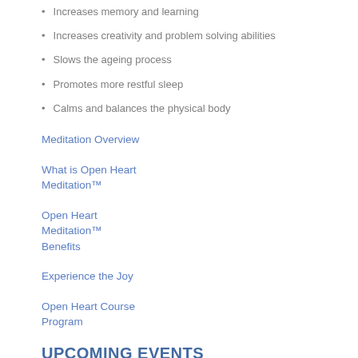Increases memory and learning
Increases creativity and problem solving abilities
Slows the ageing process
Promotes more restful sleep
Calms and balances the physical body
Meditation Overview
What is Open Heart Meditation™
Open Heart Meditation™ Benefits
Experience the Joy
Open Heart Course Program
UPCOMING EVENTS